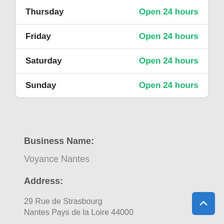| Day | Hours |
| --- | --- |
| Thursday | Open 24 hours |
| Friday | Open 24 hours |
| Saturday | Open 24 hours |
| Sunday | Open 24 hours |
Business Name:
Voyance Nantes
Address:
29 Rue de Strasbourg
Nantes Pays de la Loire 44000